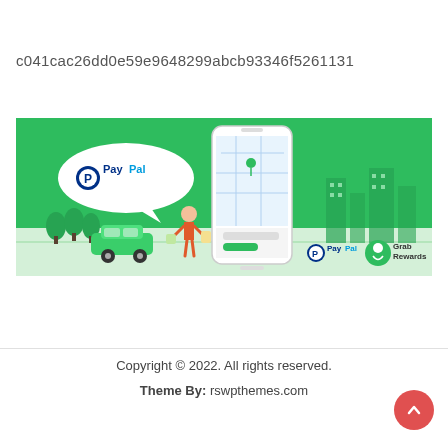c041cac26dd0e59e9648299abcb93346f5261131
[Figure (illustration): PayPal and Grab Rewards promotional banner image on green background showing a smartphone with Grab app, a PayPal speech bubble, a green car, a person with shopping bags, city buildings, and the PayPal and Grab Rewards logos at the bottom right.]
Copyright © 2022. All rights reserved.
Theme By: rswpthemes.com